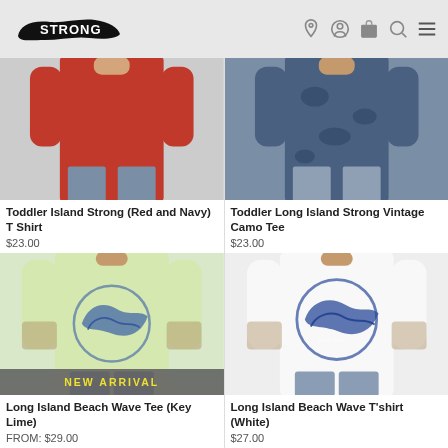Strong Island (logo) | navigation icons: location, account, cart, search, menu
[Figure (photo): Toddler wearing red t-shirt, cropped to show torso]
Toddler Island Strong (Red and Navy) T Shirt
$23.00
[Figure (photo): Toddler wearing blue camo t-shirt, cropped to show torso]
Toddler Long Island Strong Vintage Camo Tee
$23.00
[Figure (photo): Person wearing key lime green t-shirt with blue wave graphic on back. NEW ARRIVAL badge overlay.]
Long Island Beach Wave Tee (Key Lime)
FROM: $29.00
[Figure (photo): Person wearing white t-shirt with blue wave graphic on back]
Long Island Beach Wave T'shirt (White)
$27.00